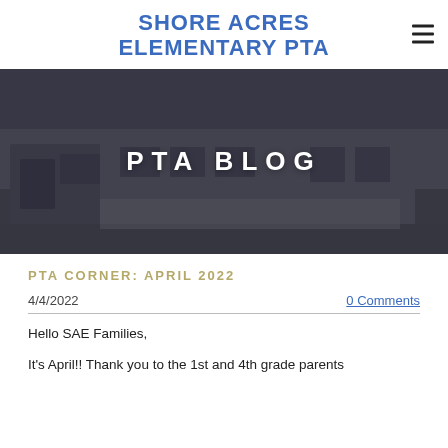SHORE ACRES ELEMENTARY PTA
[Figure (photo): Darkened photo of a school building exterior with 'PTA BLOG' text overlay]
PTA CORNER: APRIL 2022
4/4/2022
0 Comments
Hello SAE Families,
It's April!! Thank you to the 1st and 4th grade parents